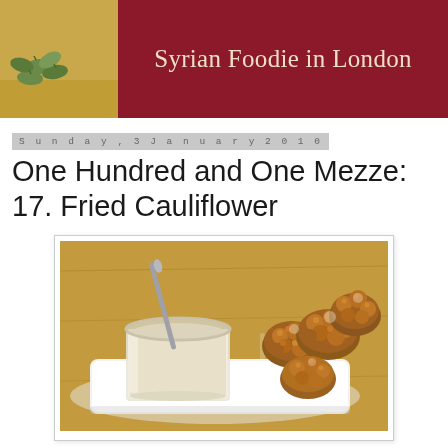Syrian Foodie in London
Sunday, 3 January 2010
One Hundred and One Mezze: 17. Fried Cauliflower
[Figure (photo): A white rectangular plate with fried cauliflower florets and a small glass jar of tahini dipping sauce with a spoon, on a wooden surface.]